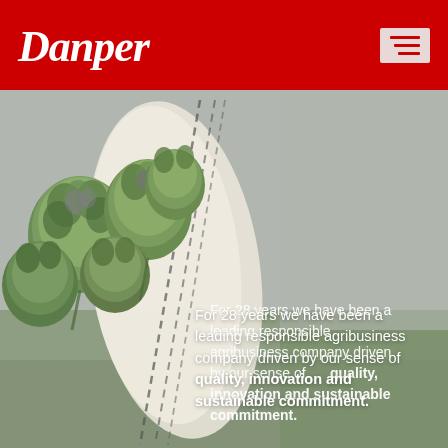Danper
[Figure (photo): Person in a field holding a white cloth bag filled with fresh artichokes, with blurred green farmland in the background]
For 28 years we have been a leading responsible agribusiness company driven by our sense of quality, innovation and sustainable commitment.